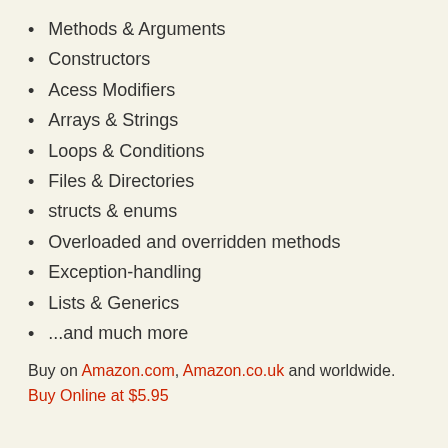Methods & Arguments
Constructors
Acess Modifiers
Arrays & Strings
Loops & Conditions
Files & Directories
structs & enums
Overloaded and overridden methods
Exception-handling
Lists & Generics
...and much more
Buy on Amazon.com, Amazon.co.uk and worldwide.
Buy Online at $5.95